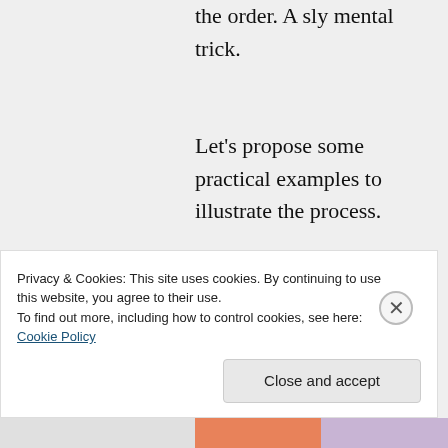the order. A sly mental trick.
Let's propose some practical examples to illustrate the process.
Most mothers like to have an orderly home. Order in her home requires:
1. An intellect to
Privacy & Cookies: This site uses cookies. By continuing to use this website, you agree to their use. To find out more, including how to control cookies, see here: Cookie Policy
Close and accept